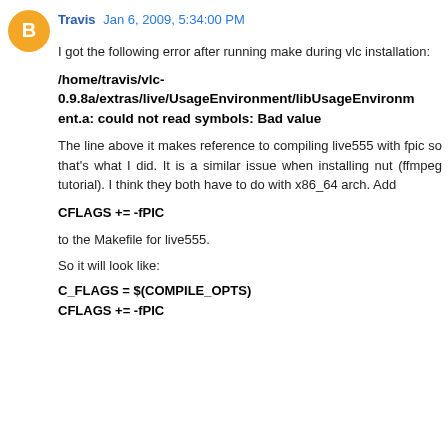[Figure (other): Orange circle avatar with white blogger 'B' icon]
Travis  Jan 6, 2009, 5:34:00 PM
I got the following error after running make during vlc installation:
/home/travis/vlc-0.9.8a/extras/live/UsageEnvironment/libUsageEnvironment.a: could not read symbols: Bad value
The line above it makes reference to compiling live555 with fpic so that's what I did. It is a similar issue when installing nut (ffmpeg tutorial). I think they both have to do with x86_64 arch. Add
CFLAGS += -fPIC
to the Makefile for live555.
So it will look like:
C_FLAGS = $(COMPILE_OPTS)
CFLAGS += -fPIC